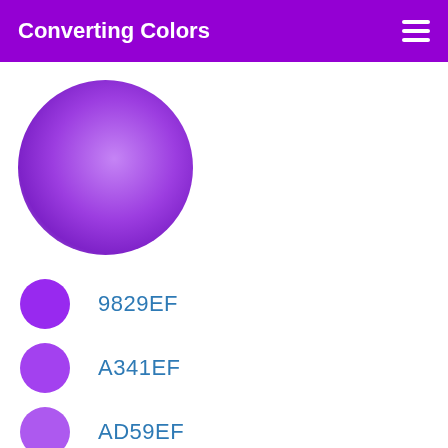Converting Colors
[Figure (illustration): Large purple sphere with radial gradient, lighter at edges and darker in the center-right area]
9829EF
A341EF
AD59EF
B871EF
C289EF
CDA0EF